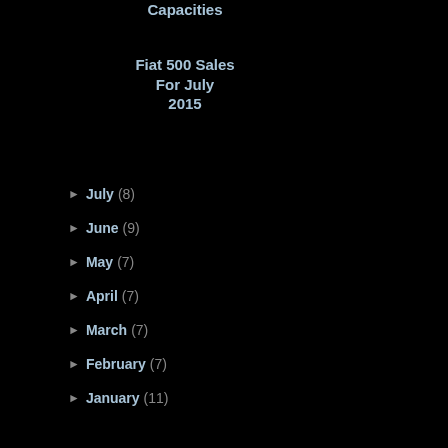Capacities
Fiat 500 Sales For July 2015
► July (8)
► June (9)
► May (7)
► April (7)
► March (7)
► February (7)
► January (11)
► 2014 (134)
► 2013 (116)
► 2012 (173)
► 2011 (237)
► 2010 (186)
► 2009 (107)